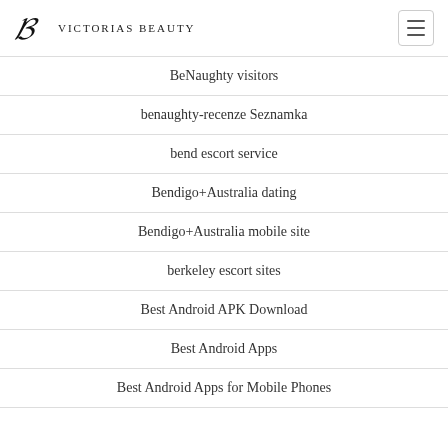Victorias Beauty
BeNaughty visitors
benaughty-recenze Seznamka
bend escort service
Bendigo+Australia dating
Bendigo+Australia mobile site
berkeley escort sites
Best Android APK Download
Best Android Apps
Best Android Apps for Mobile Phones